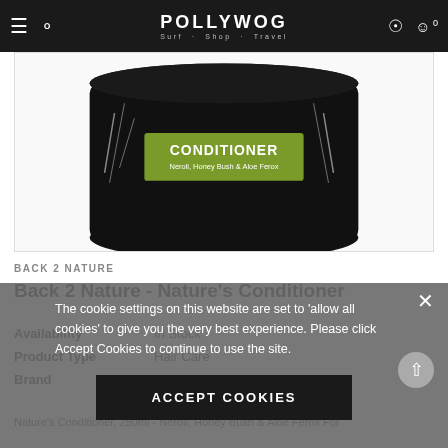POLLYWOG Surf · Shop · Travel
[Figure (photo): Product photo of a dark jar with black illustrated label and a green band reading 'CONDITIONER Neroli, Honey Bush & Aloe Ferox']
BACK 2 NATURE
Back 2 Nature - Nature's Conditioner
| Availability | In Stock |
| Product Type | Hair Care |
| Brand |  |
Nature's Conditioner, 250ml - Neroli, Honey Bush & Aloe Ferox For
The cookie settings on this website are set to 'allow all cookies' to give you the very best experience. Please click Accept Cookies to continue to use the site.
ACCEPT COOKIES